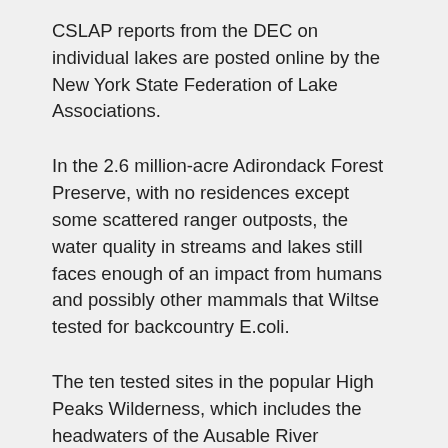CSLAP reports from the DEC on individual lakes are posted online by the New York State Federation of Lake Associations.
In the 2.6 million-acre Adirondack Forest Preserve, with no residences except some scattered ranger outposts, the water quality in streams and lakes still faces enough of an impact from humans and possibly other mammals that Wiltse tested for backcountry E.coli.
The ten tested sites in the popular High Peaks Wilderness, which includes the headwaters of the Ausable River watershed, showed the fecal indicator in all of them at least once, indicating the water might be unsafe to drink without filtering or other treatment.